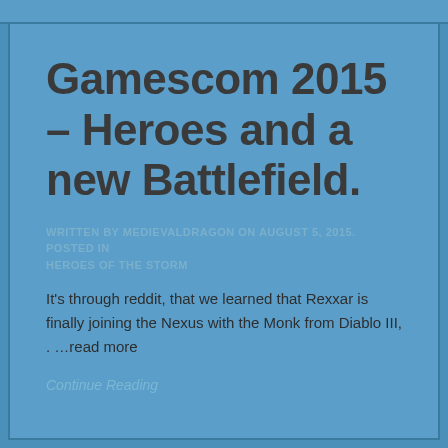Gamescom 2015 – Heroes and a new Battlefield.
WRITTEN BY MEDIEVALDRAGON ON AUGUST 5, 2015. POSTED IN HEROES OF THE STORM
It's through reddit, that we learned that Rexxar is finally joining the Nexus with the Monk from Diablo III, . …read more
Continue Reading